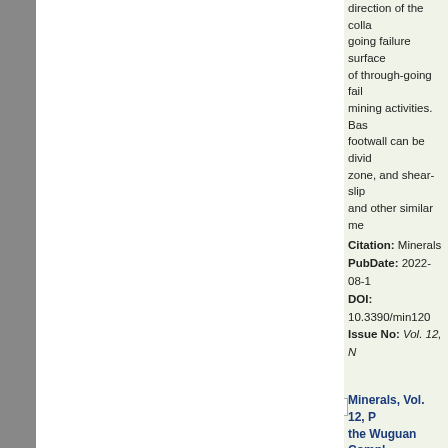direction of the collapse going failure surface of through-going failure mining activities. Bas footwall can be divided zone, and shear-slip and other similar me
Citation: Minerals PubDate: 2022-08-1 DOI: 10.3390/min120 Issue No: Vol. 12, N
Minerals, Vol. 12, P the Wuguan Compl Tectonic Evolution
Authors: Ming Guan First page: 1026 Abstract: The tecto between the North C Group, situated alon North Qinling Terran tectonic evolution of geochemical analysi metasedimentary ro at 804 Ma and 920 M metasedimentary ro which shows the mai zircon age results ha Liuling Group and p (CIA), while the geo